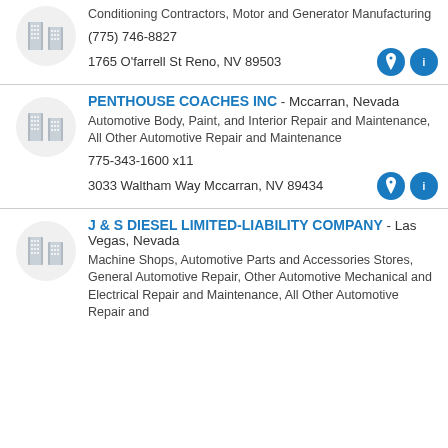Conditioning Contractors, Motor and Generator Manufacturing
(775) 746-8827
1765 O'farrell St Reno, NV 89503
PENTHOUSE COACHES INC - Mccarran, Nevada
Automotive Body, Paint, and Interior Repair and Maintenance, All Other Automotive Repair and Maintenance
775-343-1600 x11
3033 Waltham Way Mccarran, NV 89434
J & S DIESEL LIMITED-LIABILITY COMPANY - Las Vegas, Nevada
Machine Shops, Automotive Parts and Accessories Stores, General Automotive Repair, Other Automotive Mechanical and Electrical Repair and Maintenance, All Other Automotive Repair and